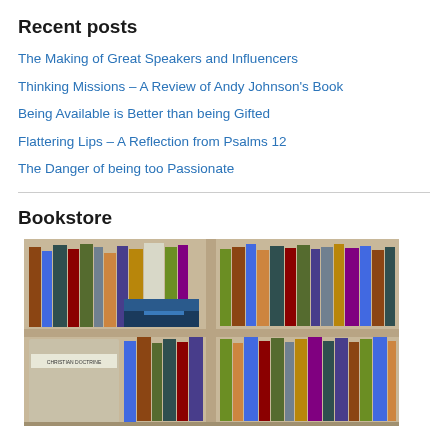Recent posts
The Making of Great Speakers and Influencers
Thinking Missions – A Review of Andy Johnson's Book
Being Available is Better than being Gifted
Flattering Lips – A Reflection from Psalms 12
The Danger of being too Passionate
Bookstore
[Figure (photo): Photograph of a wooden bookstore shelf with two visible compartments on top and bottom rows, filled with various books of different colors and sizes. A book labeled 'CHRISTIAN DOCTRINE' is visible on the bottom left shelf.]